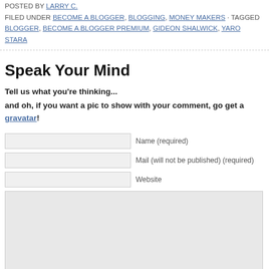POSTED BY LARRY C.
FILED UNDER BECOME A BLOGGER, BLOGGING, MONEY MAKERS · TAGGED BLOGGER, BECOME A BLOGGER PREMIUM, GIDEON SHALWICK, YARO STARA
Speak Your Mind
Tell us what you're thinking...
and oh, if you want a pic to show with your comment, go get a gravatar!
Name (required)
Mail (will not be published) (required)
Website